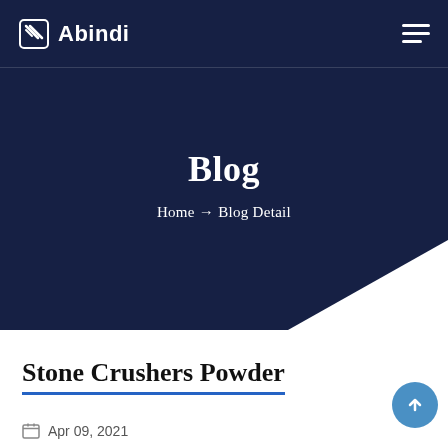Abindi
Blog
Home → Blog Detail
Stone Crushers Powder
Apr 09, 2021